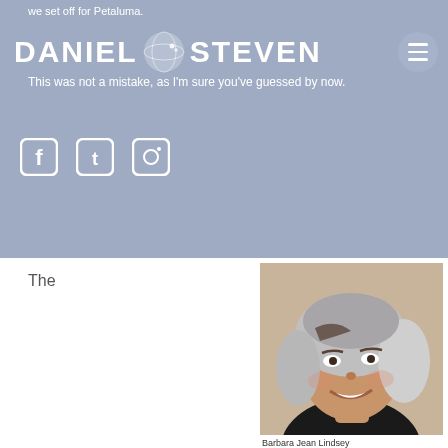we set off for Petaluma.
DANIEL STEVEN
This was not a mistake, as I'm sure you've guessed by now.
The
[Figure (photo): Portrait photo of a smiling older woman with short silver-gray wavy hair wearing a black top against a neutral background.]
Barbara Jean Lindsey